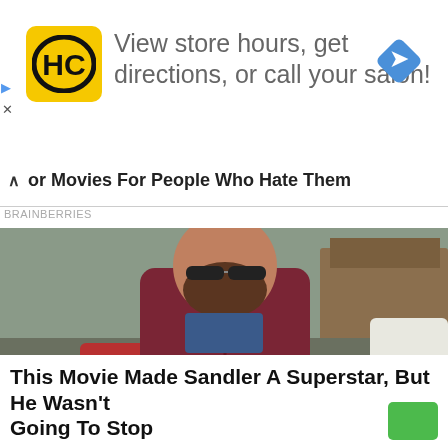[Figure (logo): HC logo on yellow square background with navigation arrow icon — advertisement banner reading 'View store hours, get directions, or call your salon!']
or Movies For People Who Hate Them
BRAINBERRIES
[Figure (photo): Man wearing dark sunglasses and a dark red/maroon hoodie sweatshirt with a blue shirt underneath, standing outdoors in a parking lot area with buildings and cars in the background]
This Movie Made Sandler A Superstar, But He Wasn't Going To Stop